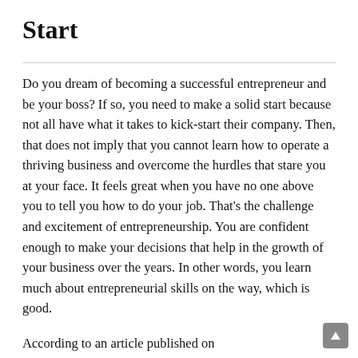Start
Do you dream of becoming a successful entrepreneur and be your boss? If so, you need to make a solid start because not all have what it takes to kick-start their company. Then, that does not imply that you cannot learn how to operate a thriving business and overcome the hurdles that stare you at your face. It feels great when you have no one above you to tell you how to do your job. That's the challenge and excitement of entrepreneurship. You are confident enough to make your decisions that help in the growth of your business over the years. In other words, you learn much about entrepreneurial skills on the way, which is good.
According to an article published on https://www.bbc.co.uk, Jackie Fast, who is a successful entrepreneur says that determining what motivatesa businessperson is one of the